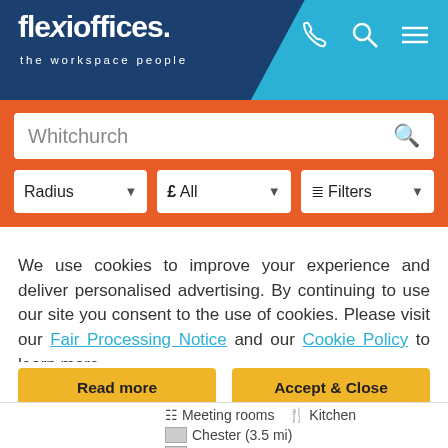[Figure (logo): Flexioffices logo with text 'flexioffices. the workspace people' on dark navy background, with phone, search and menu icons on cyan background]
Whitchurch
Radius   £ All   Filters
We use cookies to improve your experience and deliver personalised advertising. By continuing to use our site you consent to the use of cookies. Please visit our Fair Processing Notice and our Cookie Policy to learn more.
Read more
Accept & Close
Meeting rooms   Kitchen
Chester (3.5 mi)
B Birche (4.4 mi)